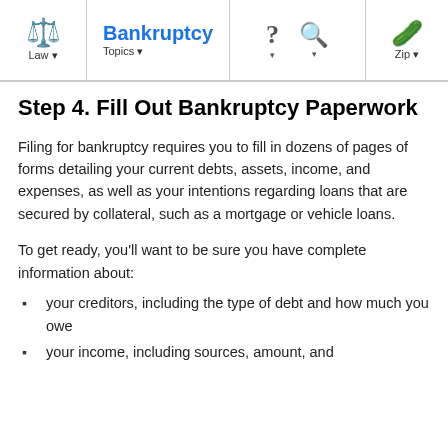Bankruptcy — Law, Topics, Zip
Step 4. Fill Out Bankruptcy Paperwork
Filing for bankruptcy requires you to fill in dozens of pages of forms detailing your current debts, assets, income, and expenses, as well as your intentions regarding loans that are secured by collateral, such as a mortgage or vehicle loans.
To get ready, you'll want to be sure you have complete information about:
your creditors, including the type of debt and how much you owe
your income, including sources, amount, and